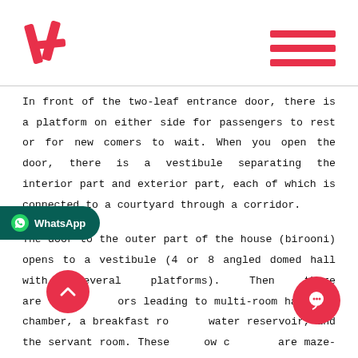[Logo and navigation menu]
In front of the two-leaf entrance door, there is a platform on either side for passengers to rest or for new comers to wait. When you open the door, there is a vestibule separating the interior part and exterior part, each of which is connected to a courtyard through a corridor.
The door to the outer part of the house (birooni) opens to a vestibule (4 or 8 angled domed hall with several platforms). Then there are [doors] leading to multi-room halls, a chamber, a breakfast ro[om,] water reservoir, and the servant room. These [corr]idors are maze-like in order to prevent looking inside th[e door]. Andarooni is also a hall with several five-door rooms (panjdari),